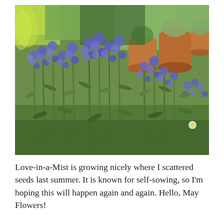[Figure (photo): A garden photograph showing tall plants with blue-purple flowers (Love-in-a-Mist / Echium) growing densely in a garden bed, with terracotta pots and various other plants visible in the background.]
Love-in-a-Mist is growing nicely where I scattered seeds last summer. It is known for self-sowing, so I'm hoping this will happen again and again. Hello, May Flowers!